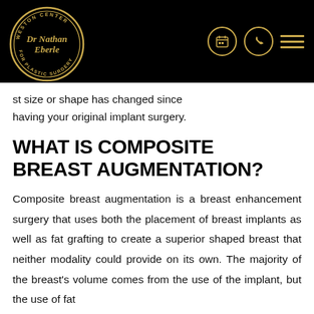Dr. Nathan Eberle — Weston Center for Plastic Surgery — header navigation
st size or shape has changed since having your original implant surgery.
WHAT IS COMPOSITE BREAST AUGMENTATION?
Composite breast augmentation is a breast enhancement surgery that uses both the placement of breast implants as well as fat grafting to create a superior shaped breast that neither modality could provide on its own. The majority of the breast's volume comes from the use of the implant, but the use of fat